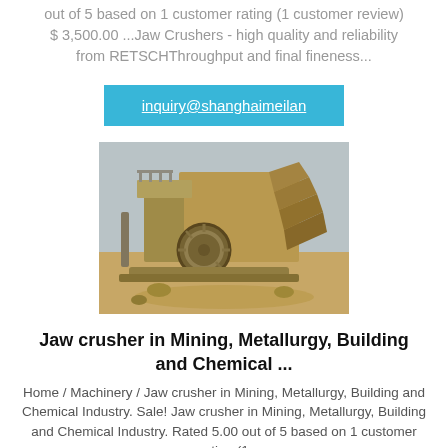out of 5 based on 1 customer rating (1 customer review) $ 3,500.00 ...Jaw Crushers - high quality and reliability from RETSCHThroughput and final fineness...
inquiry@shanghaimeilan
[Figure (photo): Photograph of a jaw crusher machine used in mining, metallurgy, building and chemical industry. The large industrial machine is shown outdoors, with a sandy/dusty environment, featuring a flywheel and hopper.]
Jaw crusher in Mining, Metallurgy, Building and Chemical ...
Home / Machinery / Jaw crusher in Mining, Metallurgy, Building and Chemical Industry. Sale! Jaw crusher in Mining, Metallurgy, Building and Chemical Industry. Rated 5.00 out of 5 based on 1 customer rating (1